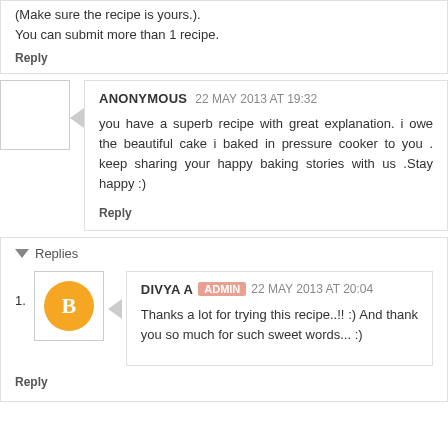You can submit more than 1 recipe.
Reply
ANONYMOUS 22 MAY 2013 AT 19:32
you have a superb recipe with great explanation. i owe the beautiful cake i baked in pressure cooker to you . keep sharing your happy baking stories with us .Stay happy :)
Reply
Replies
DIVYA A ADMIN 22 MAY 2013 AT 20:04
Thanks a lot for trying this recipe..!! :) And thank you so much for such sweet words... :)
Reply